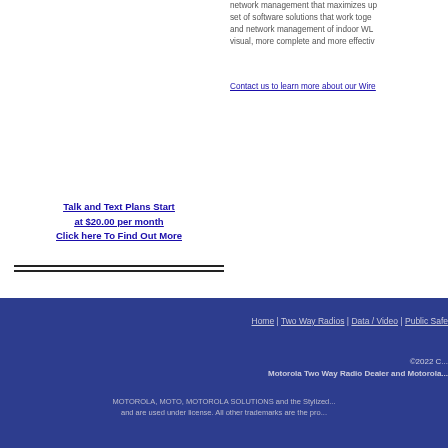network management that maximizes up... set of software solutions that work together and network management of indoor WLA... visual, more complete and more effective
Contact us to learn more about our Wire...
Talk and Text Plans Start at $20.00 per month
Click here To Find Out More
Home | Two Way Radios | Data / Video | Public Safe...
©2022 C...
Motorola Two Way Radio Dealer and Motorola...
MOTOROLA, MOTO, MOTOROLA SOLUTIONS and the Stylized... and are used under license. All other trademarks are the pro...